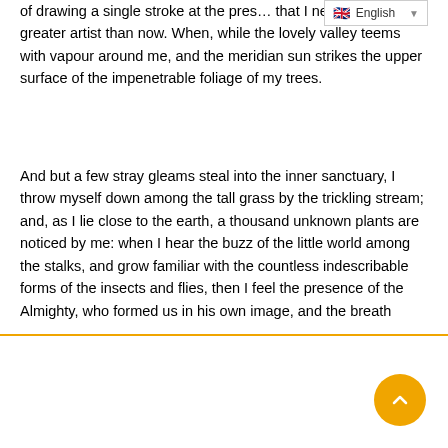of drawing a single stroke at the pres… that I never was a greater artist than now. When, while the lovely valley teems with vapour around me, and the meridian sun strikes the upper surface of the impenetrable foliage of my trees.
And but a few stray gleams steal into the inner sanctuary, I throw myself down among the tall grass by the trickling stream; and, as I lie close to the earth, a thousand unknown plants are noticed by me: when I hear the buzz of the little world among the stalks, and grow familiar with the countless indescribable forms of the insects and flies, then I feel the presence of the Almighty, who formed us in his own image, and the breath